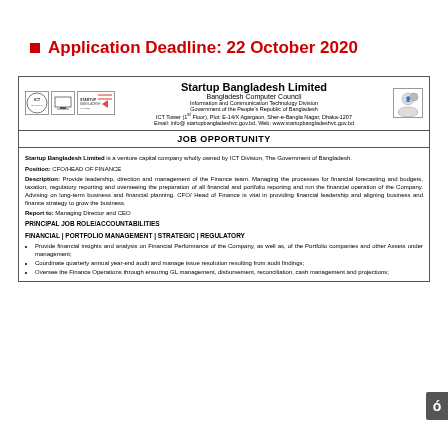Application Deadline: 22 October 2020
Startup Bangladesh Limited
Bangladesh Computer Council
Information and Communication Technology Division
Government of the People's Republic of Bangladesh
ICT Tower (1st Floor), Plot: E-14/X Agargaon, Sher-e-Bangla Nagar, Dhaka-1207
Email: info@ startupbangladeshvc.gov.bd, Web: www.startupbangladeshvc.gov.bd
JOB OPPORTUNITY
Startup Bangladesh Limited is a venture capital company wholly owned by ICT Division, The Government of Bangladesh.
Position: CFO/HEAD OF FINANCE
Description: Provide leadership, direction and management of the Finance team. Managing the processes for financial forecasting and budgets, taxation, regulatory reporting and overseeing the preparation of all financial and portfolio reporting and run the financial operation of the Company. Advising on long-term business and financial planning. CFO/ Head of Finance is vital in providing financial leadership and aligning business and finance strategy to grow the business.
Report to: Managing Director and CEO
PRINCIPAL JOB ROLE/ACCOUNTABILITIES
FINANCIAL | PORTFOLIO MANAGEMENT | STRATEGIC | REGULATORY
Provide financial insights and analysis on Financial Performance of the Company, as well as, of the Portfolio companies and other Assets under management;
Coordinate quarterly annual year-end audit and manage issue resolution resulting from audit findings;
Oversee the Finance Operations through ensuring GL management, disbursement, reconciliation, cash management and projections;